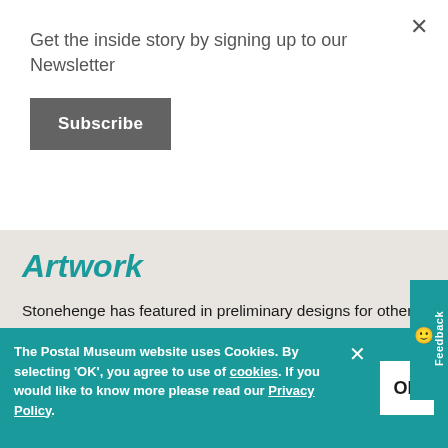Get the inside story by signing up to our Newsletter
Subscribe
Artwork
Stonehenge has featured in preliminary designs for other stamp issues. Here we have an example for the Geographical Congress of 1964 and a design for new England definitive stamps in 2001.
[Figure (photo): Partial view of Stonehenge-related stamp artwork images]
The Postal Museum website uses Cookies. By selecting ‘OK’, you agree to use of cookies. If you would like to know more please read our Privacy Policy.